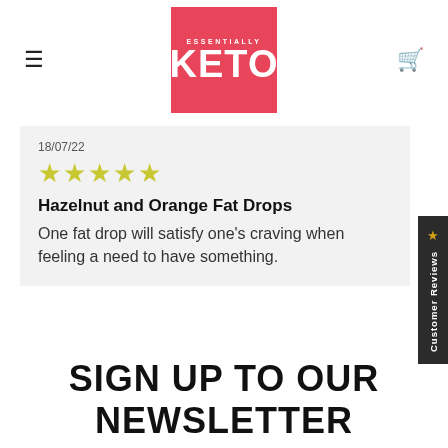ESSENTIALLY KETO
18/07/22
★★★★★
Hazelnut and Orange Fat Drops
One fat drop will satisfy one's craving when feeling a need to have something.
★ Customer Reviews
SIGN UP TO OUR NEWSLETTER